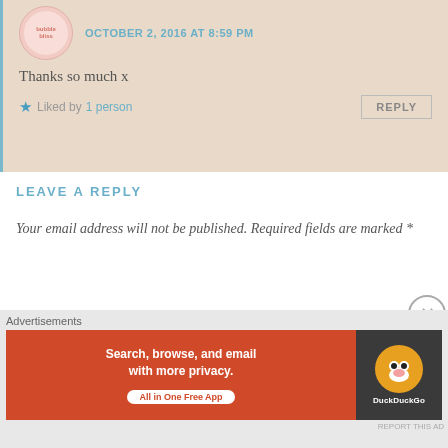OCTOBER 2, 2016 AT 8:59 PM
Thanks so much x
★ Liked by 1 person
LEAVE A REPLY
Your email address will not be published. Required fields are marked *
COMMENT *
[Figure (screenshot): Comment text input box]
[Figure (screenshot): DuckDuckGo advertisement banner: Search, browse, and email with more privacy. All in One Free App]
Advertisements